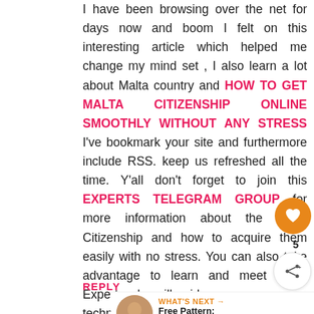I have been browsing over the net for days now and boom I felt on this interesting article which helped me change my mind set , I also learn a lot about Malta country and HOW TO GET MALTA CITIZENSHIP ONLINE SMOOTHLY WITHOUT ANY STRESS I've bookmark your site and furthermore include RSS. keep us refreshed all the time. Y'all don't forget to join this EXPERTS TELEGRAM GROUP for more information about the Malta Citizenship and how to acquire them easily with no stress. You can also take advantage to learn and meet many Experts who will guide you on numerous techniques for anyone who love hacking and don't know how to go about it .
REPLY
WHAT'S NEXT → Free Pattern: 1950s Dress...